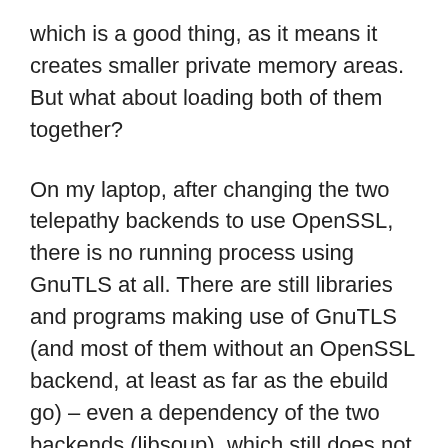which is a good thing, as it means it creates smaller private memory areas. But what about loading both of them together?
On my laptop, after changing the two telepathy backends to use OpenSSL, there is no running process using GnuTLS at all. There are still libraries and programs making use of GnuTLS (and most of them without an OpenSSL backend, at least as far as the ebuild go) – even a dependency of the two backends (libsoup), which still does not load GnuTLS at all here.
While this does mean that I can get rid of GnuTLS on my system (NetworkManager, GStreamer, VLC, and even the gabble backend use it), it means that I don't